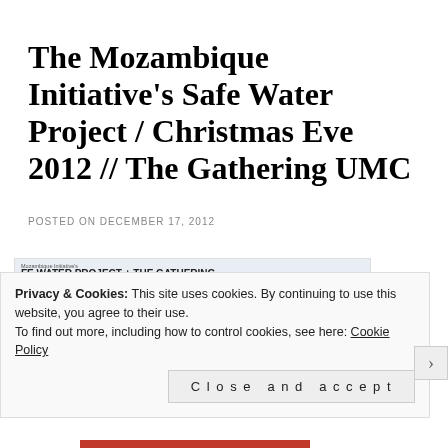The Mozambique Initiative's Safe Water Project / Christmas Eve 2012 // The Gathering UMC
POSTED ON DECEMBER 17, 2012
[Figure (bar-chart): Bar chart showing contributions and wells completed from 2009 to 2012. Categories: 2009, 2010, 2011, 2012. Shows Gathering contribution (yellow) and partner church funds (green) with dollar amounts: 2009: $35,637; 2010: $42,530 (partner) + $53,985 (Gathering); 2011: $72,305 + $35,740; 2012 partial. Wells completed: 1st Jun 2010, 5 wells, 8 wells, 5 (in progress).]
Privacy & Cookies: This site uses cookies. By continuing to use this website, you agree to their use.
To find out more, including how to control cookies, see here: Cookie Policy
Close and accept